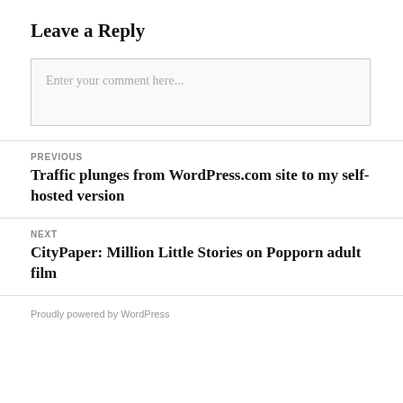Leave a Reply
Enter your comment here...
PREVIOUS
Traffic plunges from WordPress.com site to my self-hosted version
NEXT
CityPaper: Million Little Stories on Popporn adult film
Proudly powered by WordPress